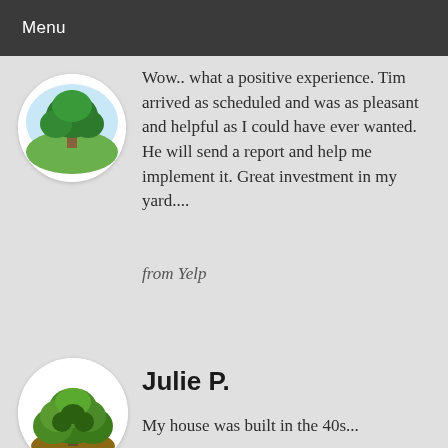Menu
[Figure (illustration): Circular avatar icon showing a tree with green foliage on a grassy hill with blue sky background]
Wow.. what a positive experience. Tim arrived as scheduled and was as pleasant and helpful as I could have ever wanted. He will send a report and help me implement it. Great investment in my yard....
from Yelp
[Figure (illustration): Circular avatar icon showing a green bushy tree or shrub]
Julie P.
My house was built in the 40s...